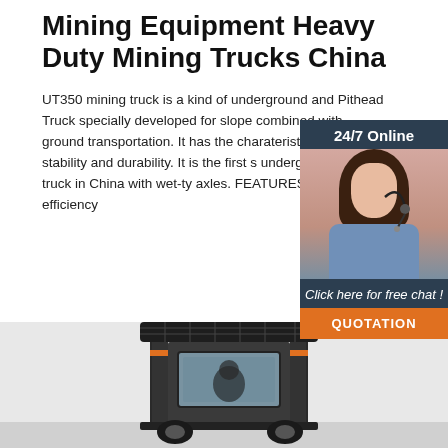Mining Equipment Heavy Duty Mining Trucks China
UT350 mining truck is a kind of underground and Pithead Truck specially developed for slope combined with ground transportation. It has the charateristic of reliability, stability and durability. It is the first s underground mining truck in China with wet-ty axles. FEATURES. High efficiency
[Figure (photo): Chat widget with woman wearing headset, '24/7 Online' header, 'Click here for free chat!' text, and 'QUOTATION' orange button]
Get Price
[Figure (photo): Mining truck / forklift vehicle photo showing cab and mast structure from close up angle]